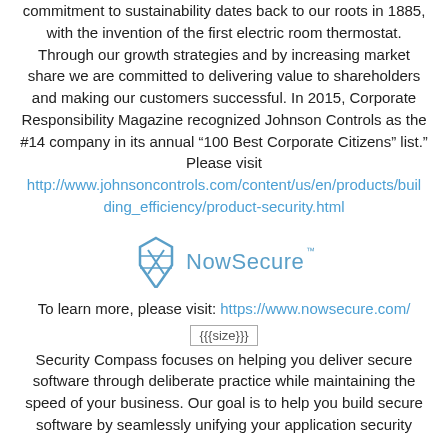commitment to sustainability dates back to our roots in 1885, with the invention of the first electric room thermostat. Through our growth strategies and by increasing market share we are committed to delivering value to shareholders and making our customers successful. In 2015, Corporate Responsibility Magazine recognized Johnson Controls as the #14 company in its annual “100 Best Corporate Citizens” list.” Please visit http://www.johnsoncontrols.com/content/us/en/products/building_efficiency/product-security.html
[Figure (logo): NowSecure logo with a diamond/shield icon and the text 'NowSecure' in light blue]
To learn more, please visit: https://www.nowsecure.com/
[Figure (other): Broken image placeholder showing {{{size}}}]
Security Compass focuses on helping you deliver secure software through deliberate practice while maintaining the speed of your business. Our goal is to help you build secure software by seamlessly unifying your application security